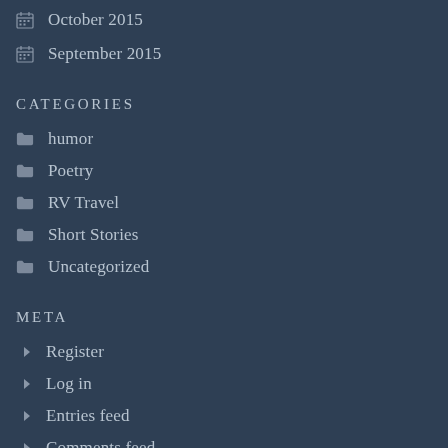October 2015
September 2015
CATEGORIES
humor
Poetry
RV Travel
Short Stories
Uncategorized
META
Register
Log in
Entries feed
Comments feed